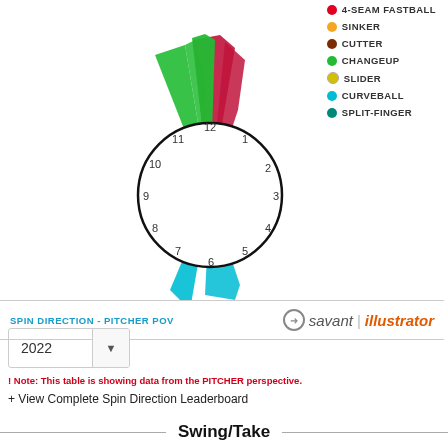[Figure (radar-chart): Spin direction clock diagram showing pitch types (4-seam fastball, changeup, curveball) radiating from a clock face. Green and red wedges point toward 11-12 o'clock (top), cyan wedges point toward 6 o'clock (bottom). Clock face shows hours 1-12.]
4-SEAM FASTBALL
SINKER
CUTTER
CHANGEUP
SLIDER
CURVEBALL
SPLIT-FINGER
SPIN DIRECTION - PITCHER POV
savant illustrator
2022
! Note: This table is showing data from the PITCHER perspective.
+ View Complete Spin Direction Leaderboard
Swing/Take